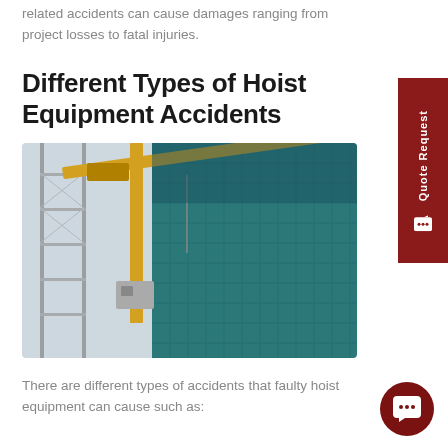related accidents can cause damages ranging from project losses to fatal injuries.
Different Types of Hoist Equipment Accidents
[Figure (photo): A yellow tower crane extending across a modern glass skyscraper under construction, with scaffolding visible on the left and a teal-green glass building facade on the right.]
There are different types of accidents that faulty hoist equipment can cause such as: